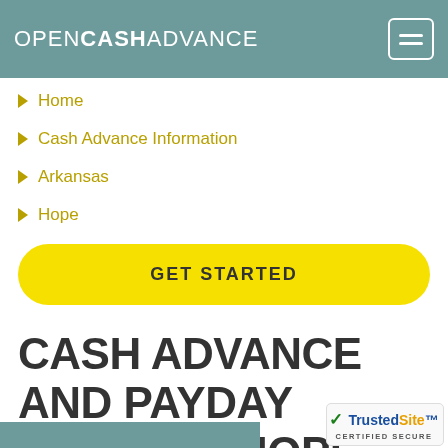OPENCASHADVANCE
Home
Cash Advance Information
Arkansas
Hope
GET STARTED
CASH ADVANCE AND PAYDAY LOANS IN HOPE, AR